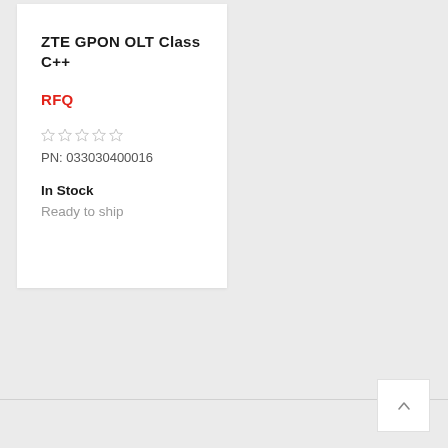ZTE GPON OLT Class C++
RFQ
PN: 033030400016
In Stock
Ready to ship